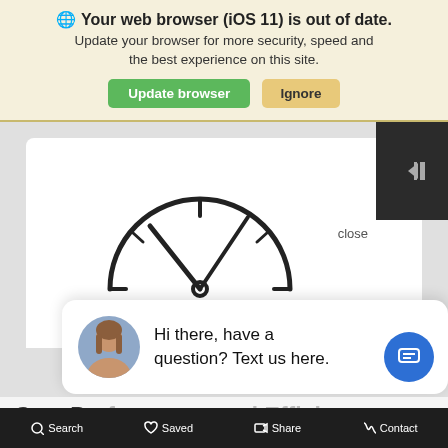🌐 Your web browser (iOS 11) is out of date. Update your browser for more security, speed and the best experience on this site. Update browser | Ignore
[Figure (illustration): Partial clock face showing approximately 10:10 time, with hour and minute tick marks, no numbers, centered on white card background. A dark panel with a menu/list icon is in the top right corner. A 'close' text label appears below the dark panel.]
Hi there, have a question? Text us here.
Gas. Performance and Efficie...
TUCSON's bigger 2.5-liter, 4-cylinder gas engine gives you more power with an estimated 187 hp and 182 lb.-ft. of torque.
Search  Saved  Share  Contact